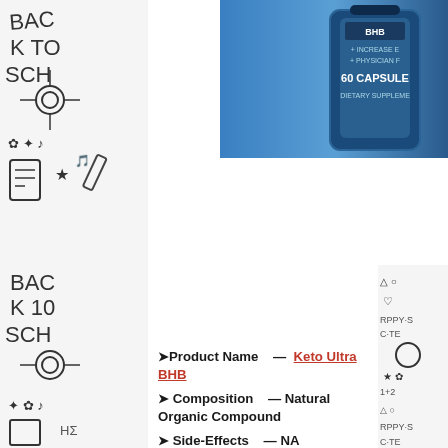[Figure (photo): Product bottle of Keto Ultra BHB dietary supplement, 60 capsules, dark blue label, top-right corner]
[Figure (illustration): Back to school doodle pattern on left side border]
[Figure (illustration): Back to school doodle pattern on right side border]
➤Product Name — Keto Ultra BHB
➤ Composition — Natural Organic Compound
➤ Side-Effects — NA
➤ Rating : — ⭐⭐⭐⭐⭐
➤ Availability — Online
➤Price (for Sale) Buy Now Here — Keto Ultra BHB (CLICK HERE)
BioBoost Keto Ultra BHB Diet Pills are here to help achieve your most beautiful body! Do you wish to be